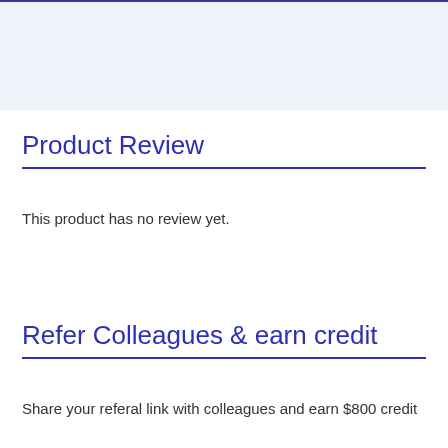[Figure (other): Light blue/purple background banner area at the top of the page]
Product Review
This product has no review yet.
Refer Colleagues & earn credit
Share your referal link with colleagues and earn $800 credit